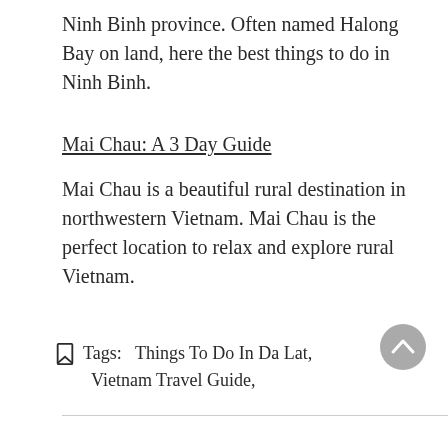Ninh Binh province. Often named Halong Bay on land, here the best things to do in Ninh Binh.
Mai Chau: A 3 Day Guide
Mai Chau is a beautiful rural destination in northwestern Vietnam. Mai Chau is the perfect location to relax and explore rural Vietnam.
Tags:   Things To Do In Da Lat,
Vietnam Travel Guide,